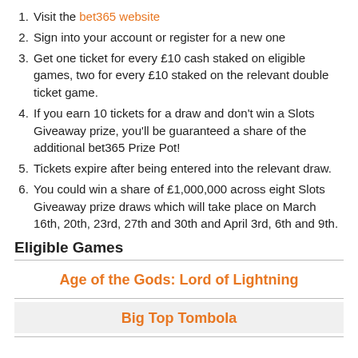Visit the bet365 website
Sign into your account or register for a new one
Get one ticket for every £10 cash staked on eligible games, two for every £10 staked on the relevant double ticket game.
If you earn 10 tickets for a draw and don't win a Slots Giveaway prize, you'll be guaranteed a share of the additional bet365 Prize Pot!
Tickets expire after being entered into the relevant draw.
You could win a share of £1,000,000 across eight Slots Giveaway prize draws which will take place on March 16th, 20th, 23rd, 27th and 30th and April 3rd, 6th and 9th.
Eligible Games
Age of the Gods: Lord of Lightning
Big Top Tombola